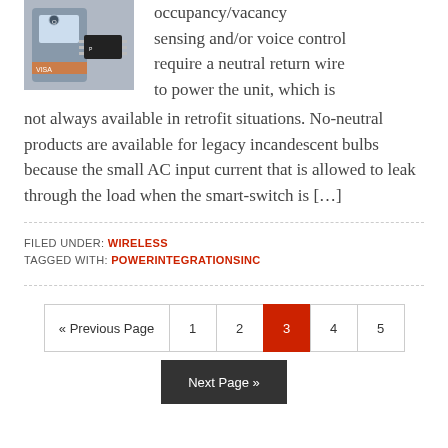[Figure (photo): Photo of a smart switch / chip component (Power Integrations product)]
occupancy/vacancy sensing and/or voice control require a neutral return wire to power the unit, which is not always available in retrofit situations. No-neutral products are available for legacy incandescent bulbs because the small AC input current that is allowed to leak through the load when the smart-switch is […]
FILED UNDER: WIRELESS
TAGGED WITH: POWERINTEGRATIONSINC
« Previous Page  1  2  3  4  5